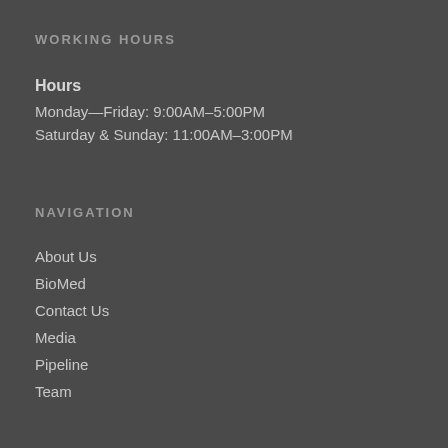WORKING HOURS
Hours
Monday—Friday: 9:00AM–5:00PM
Saturday & Sunday: 11:00AM–3:00PM
NAVIGATION
About Us
BioMed
Contact Us
Media
Pipeline
Team